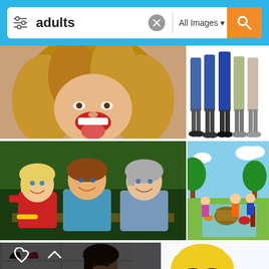[Figure (screenshot): Mobile image search interface showing search bar with 'adults' query, 'All Images' filter dropdown, orange search button, and a grid of stock photos including women, groups of people, family picnic illustration, shoe store, and cartoon character]
adults
All Images